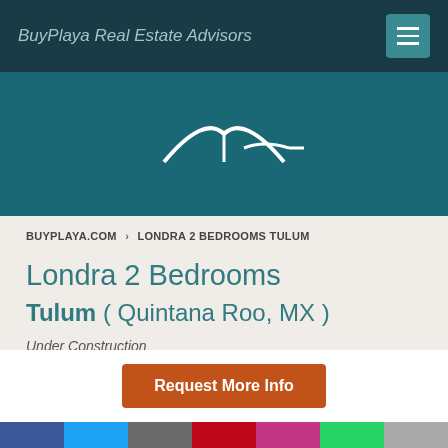BuyPlaya Real Estate Advisors
[Figure (logo): BuyPlaya Real Estate Advisors logo — stylized arch/roof outline in white on teal background]
BUYPLAYA.COM › LONDRA 2 BEDROOMS TULUM
Londra 2 Bedrooms
Tulum ( Quintana Roo, MX )
Under Construction
$225,000 USD
Request More Info